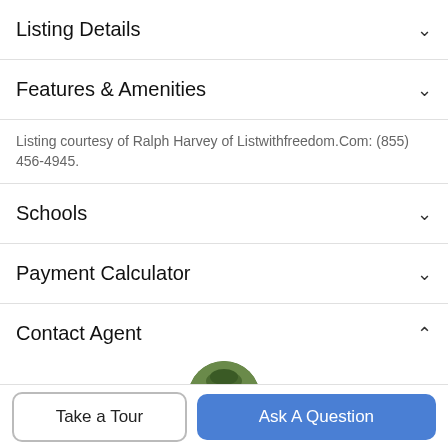Listing Details
Features & Amenities
Listing courtesy of Ralph Harvey of Listwithfreedom.Com: (855) 456-4945.
Schools
Payment Calculator
Contact Agent
[Figure (photo): Circular profile photo of a person (agent) partially visible]
Take a Tour
Ask A Question